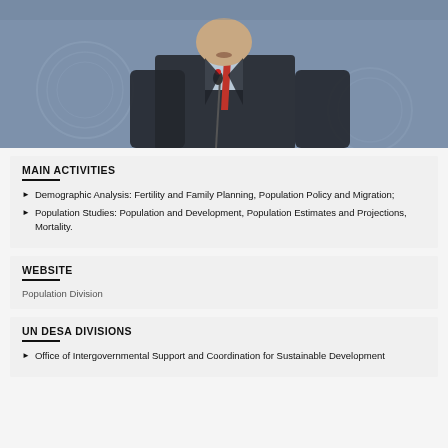[Figure (photo): Man in dark suit with red tie speaking at microphone at UN press conference, blue UN logo background]
MAIN ACTIVITIES
Demographic Analysis: Fertility and Family Planning, Population Policy and Migration;
Population Studies: Population and Development, Population Estimates and Projections, Mortality.
WEBSITE
Population Division
UN DESA DIVISIONS
Office of Intergovernmental Support and Coordination for Sustainable Development